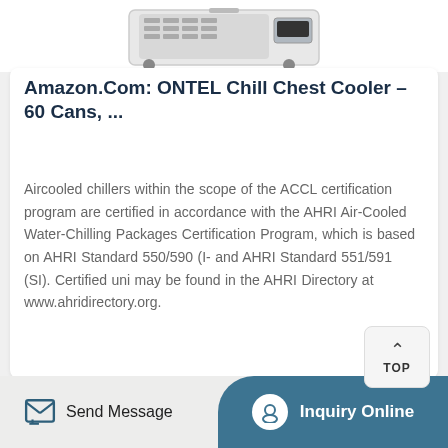[Figure (photo): Partial image of a white cooler/chiller unit (ONTEL Chill Chest Cooler), cropped at top of page]
Amazon.Com: ONTEL Chill Chest Cooler – 60 Cans, ...
Aircooled chillers within the scope of the ACCL certification program are certified in accordance with the AHRI Air-Cooled Water-Chilling Packages Certification Program, which is based on AHRI Standard 550/590 (I- and AHRI Standard 551/591 (SI). Certified uni may be found in the AHRI Directory at www.ahridirectory.org.
[Figure (other): Get Price button with teal arrow icon]
[Figure (other): TOP button (back to top navigation button) in upper right]
Send Message   Inquiry Online